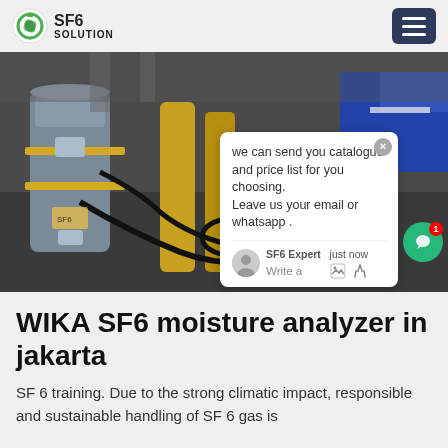SF6 SOLUTION
[Figure (photo): Industrial SF6 gas cylinders and equipment on a worksite floor with a technician in a blue jacket visible in the background. A chat popup overlay is visible on top of the photo.]
WIKA SF6 moisture analyzer in jakarta
SF 6 training. Due to the strong climatic impact, responsible and sustainable handling of SF 6 gas is